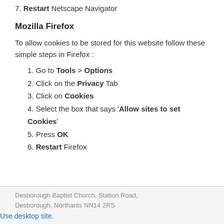7. Restart Netscape Navigator
Mozilla Firefox
To allow cookies to be stored for this website follow these simple steps in Firefox :
1. Go to Tools > Options
2. Click on the Privacy Tab
3. Click on Cookies
4. Select the box that says 'Allow sites to set Cookies'
5. Press OK
6. Restart Firefox
Desborough Baptist Church, Station Road, Desborough, Northants NN14 2RS
Use desktop site.